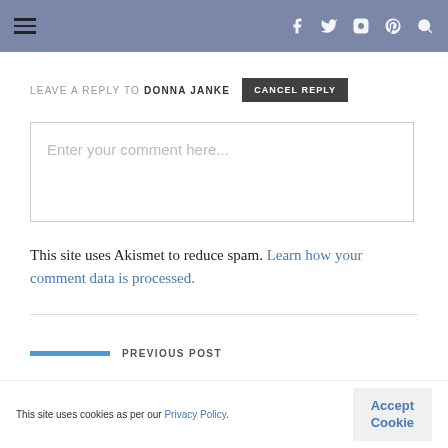Navigation header with hamburger menu and social icons (f, twitter, instagram, pinterest, search)
LEAVE A REPLY TO DONNA JANKE — CANCEL REPLY
Enter your comment here...
This site uses Akismet to reduce spam. Learn how your comment data is processed.
PREVIOUS POST
This site uses cookies as per our Privacy Policy. Accept Cookie